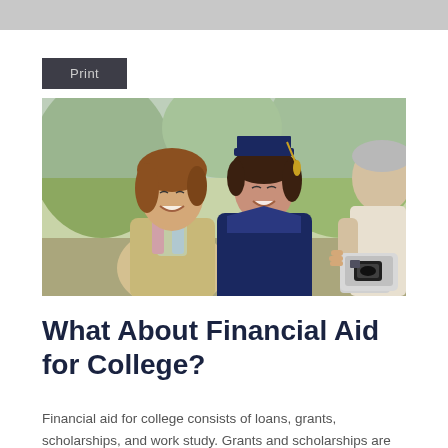Print
[Figure (photo): A smiling woman and a female graduate wearing a blue cap and gown posing together outdoors, while a person in the foreground photographs them with a digital camera.]
What About Financial Aid for College?
Financial aid for college consists of loans, grants, scholarships, and work study. Grants and scholarships are worth searching for because they don't have to be paid back, unlike student loans,